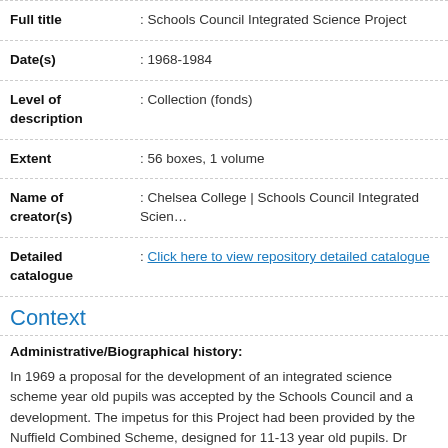| Field | Value |
| --- | --- |
| Full title | : Schools Council Integrated Science Project |
| Date(s) | : 1968-1984 |
| Level of description | : Collection (fonds) |
| Extent | : 56 boxes, 1 volume |
| Name of creator(s) | : Chelsea College | Schools Council Integrated Scien… |
| Detailed catalogue | : Click here to view repository detailed catalogue |
Context
Administrative/Biographical history:
In 1969 a proposal for the development of an integrated science scheme year old pupils was accepted by the Schools Council and a development. The impetus for this Project had been provided by the Nuffield Combined Scheme, designed for 11-13 year old pupils. Dr William C Hall and Brian appointed to organise and direct the Project, which was based at the Ce…